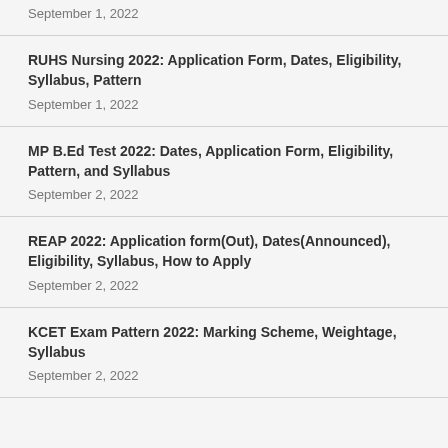September 1, 2022
RUHS Nursing 2022: Application Form, Dates, Eligibility, Syllabus, Pattern
September 1, 2022
MP B.Ed Test 2022: Dates, Application Form, Eligibility, Pattern, and Syllabus
September 2, 2022
REAP 2022: Application form(Out), Dates(Announced), Eligibility, Syllabus, How to Apply
September 2, 2022
KCET Exam Pattern 2022: Marking Scheme, Weightage, Syllabus
September 2, 2022